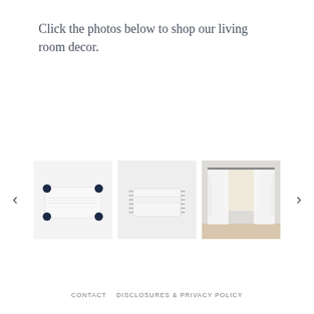Click the photos below to shop our living room decor.
[Figure (photo): A carousel of three product photos: (1) a white rectangular pillow with navy blue pompom tassels at corners and subtle striped texture on a white background; (2) a white oblong pillow with gray tassels along the edges on a gray background; (3) white sheer curtain panels hanging on a rod in a room with hardwood floors and window light.]
CONTACT   DISCLOSURES & PRIVACY POLICY